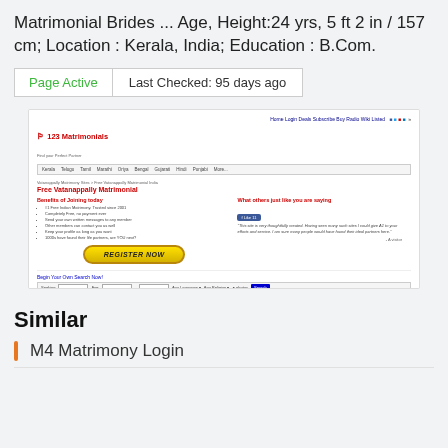Matrimonial Brides ... Age, Height:24 yrs, 5 ft 2 in / 157 cm; Location : Kerala, India; Education : B.Com.
Page Active   Last Checked: 95 days ago
[Figure (screenshot): Screenshot of 123 Matrimonials website showing Free Vatanappally Matrimonial page with registration form, benefits list, and search bar]
Similar
M4 Matrimony Login